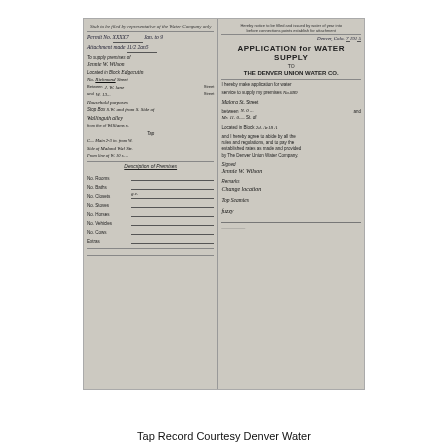[Figure (photo): Scanned historical document - an Application for Water Supply to The Denver Union Water Co., showing two panels. Left panel contains handwritten permit details referencing Jennie W. Wilson, address on Richmond Street, permit number, attachment date. Right panel shows printed form with title 'APPLICATION for WATER SUPPLY to THE DENVER UNION WATER CO.' with handwritten entries including applicant name Jennie W. Wilson, address on Malora St, signature and remarks about change of location. Description of Premises section on left lists No. Rooms, No. Baths, No. Closets (with entry 'g.c.'), No. Stoves, No. Horses, No. Vehicles, No. Cows, Extras.]
Tap Record Courtesy Denver Water